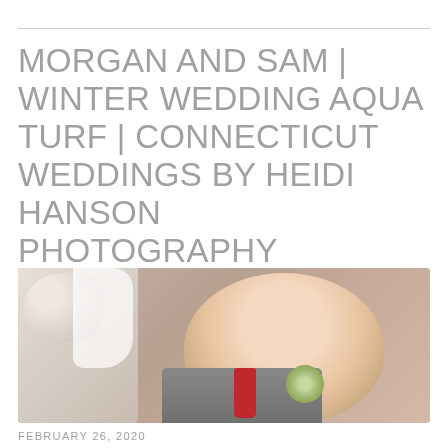MORGAN AND SAM | WINTER WEDDING AQUA TURF | CONNECTICUT WEDDINGS BY HEIDI HANSON PHOTOGRAPHY
[Figure (photo): Close-up wedding photo of a bearded groom in a grey suit with red tie and boutonniere, smiling, with bride partially visible on left]
FEBRUARY 26, 2020